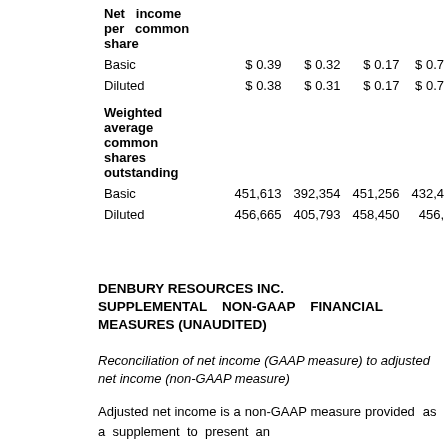|  |  |  |  |  |
| --- | --- | --- | --- | --- |
| Net income per common share |  |  |  |  |
| Basic | $ 0.39 | $ 0.32 | $ 0.17 | $ 0.7 |
| Diluted | $ 0.38 | $ 0.31 | $ 0.17 | $ 0.7 |
| Weighted average common shares outstanding |  |  |  |  |
| Basic | 451,613 | 392,354 | 451,256 | 432,4 |
| Diluted | 456,665 | 405,793 | 458,450 | 456, |
DENBURY RESOURCES INC. SUPPLEMENTAL NON-GAAP FINANCIAL MEASURES (UNAUDITED)
Reconciliation of net income (GAAP measure) to adjusted net income (non-GAAP measure)
Adjusted net income is a non-GAAP measure provided as a supplement to present an